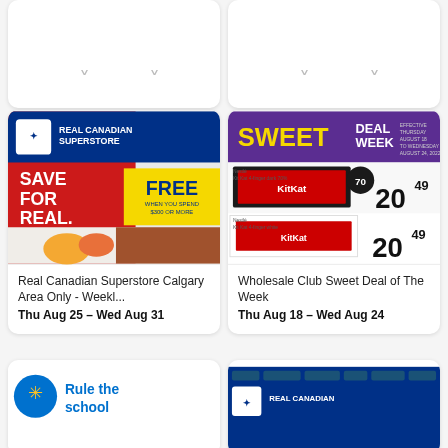[Figure (other): Partially visible flyer cards from top row]
[Figure (other): Real Canadian Superstore Calgary Area Only flyer thumbnail showing SAVE FOR REAL and FREE promotions with food images]
Real Canadian Superstore Calgary Area Only - Weekl...
Thu Aug 25 – Wed Aug 31
[Figure (other): Wholesale Club Sweet Deal of The Week flyer thumbnail showing KitKat boxes priced at 20.49]
Wholesale Club Sweet Deal of The Week
Thu Aug 18 – Wed Aug 24
[Figure (other): Partially visible bottom row flyer cards showing Walmart Rule the school and Real Canadian Superstore flyers]